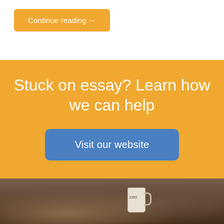Continue reading →
Stuck on essay? Learn how we can help
Visit our website
[Figure (photo): A cafe scene with a white mug on a table, dark warm-toned background with bokeh lighting suggesting a coffee shop environment.]